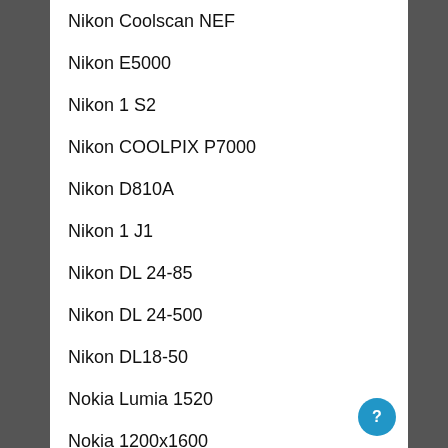Nikon Coolscan NEF
Nikon E5000
Nikon 1 S2
Nikon COOLPIX P7000
Nikon D810A
Nikon 1 J1
Nikon DL 24-85
Nikon DL 24-500
Nikon DL18-50
Nokia Lumia 1520
Nokia 1200x1600
Nokia X2